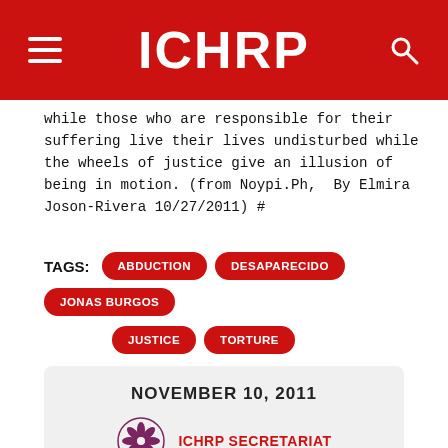ICHRP
while those who are responsible for their suffering live their lives undisturbed while the wheels of justice give an illusion of being in motion. (from Noypi.Ph, By Elmira Joson-Rivera 10/27/2011) #
TAGS: ABDUCTION  DESAPARECIDO  JONAS BURGOS  JUSTICE  TORTURE
NOVEMBER 10, 2011
ICHRP SECRETARIAT